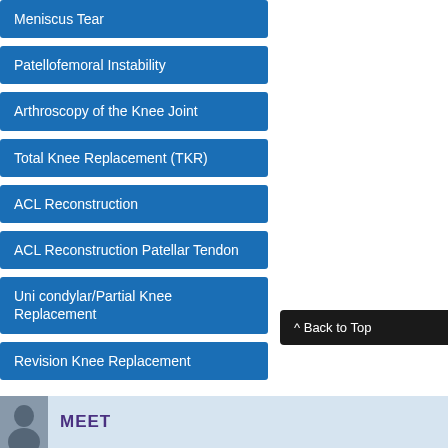Meniscus Tear
Patellofemoral Instability
Arthroscopy of the Knee Joint
Total Knee Replacement (TKR)
ACL Reconstruction
ACL Reconstruction Patellar Tendon
Uni condylar/Partial Knee Replacement
Revision Knee Replacement
^ Back to Top
MEET